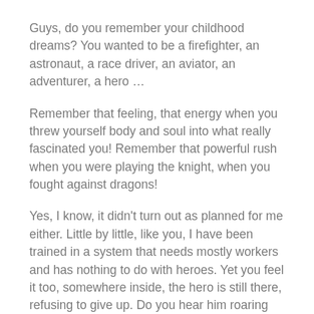Guys, do you remember your childhood dreams? You wanted to be a firefighter, an astronaut, a race driver, an aviator, an adventurer, a hero …
Remember that feeling, that energy when you threw yourself body and soul into what really fascinated you! Remember that powerful rush when you were playing the knight, when you fought against dragons!
Yes, I know, it didn't turn out as planned for me either. Little by little, like you, I have been trained in a system that needs mostly workers and has nothing to do with heroes. Yet you feel it too, somewhere inside, the hero is still there, refusing to give up. Do you hear him roaring inside you?
Formerly, long before men wrote history, we lived together in tribes. Back then, men and women lived that perfect synergy together that exists when hearts are connected, when eyes tell the truth. These men …